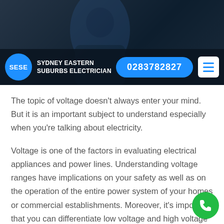[Figure (screenshot): Website header hero image showing a dark background with a person in blue work attire. Navigation bar overlaid with SESE logo, brand name Sydney Eastern Suburbs Electrician, phone number button 0283782827, and hamburger menu icon.]
The topic of voltage doesn't always enter your mind. But it is an important subject to understand especially when you're talking about electricity.
Voltage is one of the factors in evaluating electrical appliances and power lines. Understanding voltage ranges have implications on your safety as well as on the operation of the entire power system of your homes or commercial establishments. Moreover, it's important that you can differentiate low voltage and high voltage